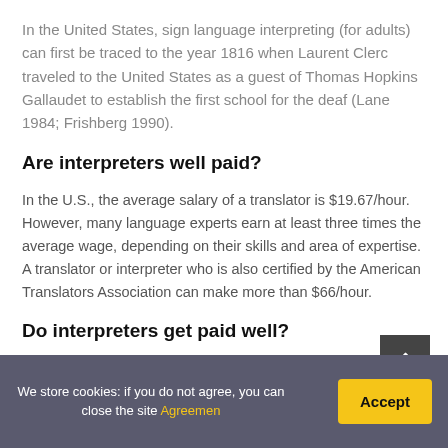In the United States, sign language interpreting (for adults) can first be traced to the year 1816 when Laurent Clerc traveled to the United States as a guest of Thomas Hopkins Gallaudet to establish the first school for the deaf (Lane 1984; Frishberg 1990).
Are interpreters well paid?
In the U.S., the average salary of a translator is $19.67/hour. However, many language experts earn at least three times the average wage, depending on their skills and area of expertise. A translator or interpreter who is also certified by the American Translators Association can make more than $66/hour.
Do interpreters get paid well?
How Much Does an Interpreter and Translator Make...
We store cookies: if you do not agree, you can close the site Agreemen